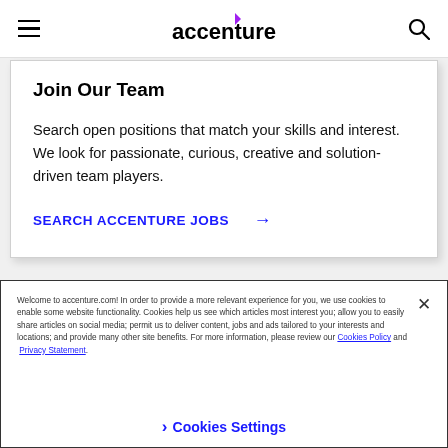accenture
Join Our Team
Search open positions that match your skills and interest. We look for passionate, curious, creative and solution-driven team players.
SEARCH ACCENTURE JOBS →
Welcome to accenture.com! In order to provide a more relevant experience for you, we use cookies to enable some website functionality. Cookies help us see which articles most interest you; allow you to easily share articles on social media; permit us to deliver content, jobs and ads tailored to your interests and locations; and provide many other site benefits. For more information, please review our Cookies Policy and Privacy Statement.
❯ Cookies Settings